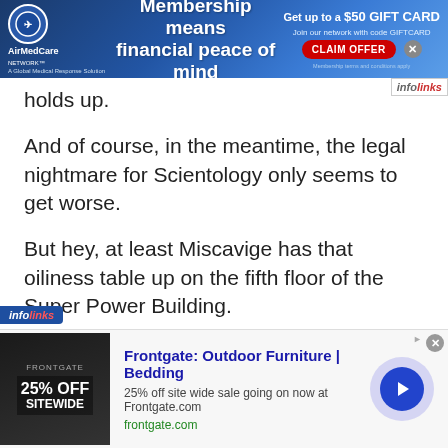[Figure (infographic): AirMedCare Network banner ad: blue gradient background, logo on left, 'Membership means financial peace of mind' text in center, 'Get up to a $50 GIFT CARD' with 'CLAIM OFFER' button on right, infolinks label]
holds up.
And of course, in the meantime, the legal nightmare for Scientology only seems to get worse.
But hey, at least Miscavige has that oiliness table up on the fifth floor of the Super Power Building.
We sure wish he'd open the thing and give us a tour. We want to see that sucker.
[Figure (infographic): Frontgate outdoor furniture/bedding ad at bottom: thumbnail image of 25% OFF SITEWIDE sale, title 'Frontgate: Outdoor Furniture | Bedding', description '25% off site wide sale going on now at Frontgate.com', url 'frontgate.com', with navigation arrow button]